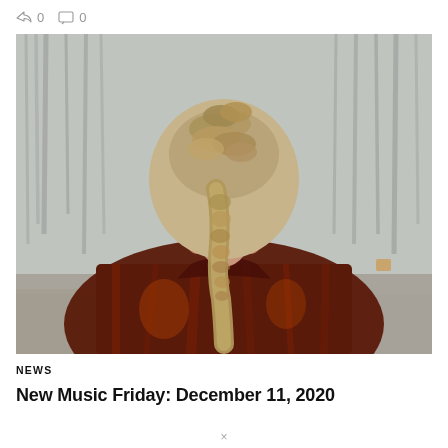0  0
[Figure (photo): Person seen from behind with a braided hairstyle, wearing a dark plaid/flannel jacket in deep red and brown tones, standing in front of a blurred autumnal woodland background with bare trees.]
NEWS
New Music Friday: December 11, 2020